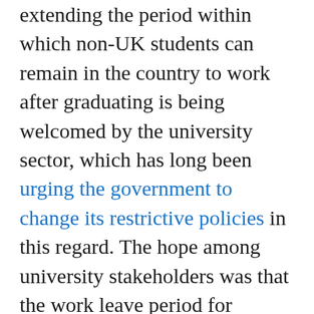extending the period within which non-UK students can remain in the country to work after graduating is being welcomed by the university sector, which has long been urging the government to change its restrictive policies in this regard. The hope among university stakeholders was that the work leave period for international graduates would be extended to two years, and Professor Dame Janet Beer, president of Universities UK,